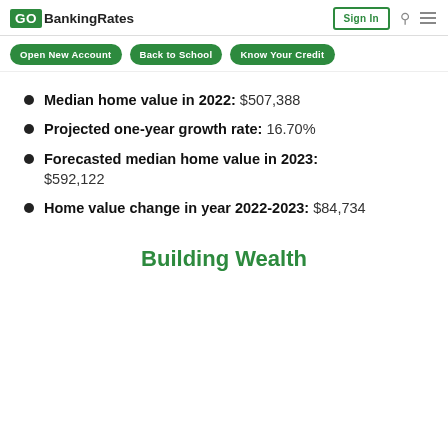GOBankingRates | Sign In
Median home value in 2022: $507,388
Projected one-year growth rate: 16.70%
Forecasted median home value in 2023: $592,122
Home value change in year 2022-2023: $84,734
Building Wealth